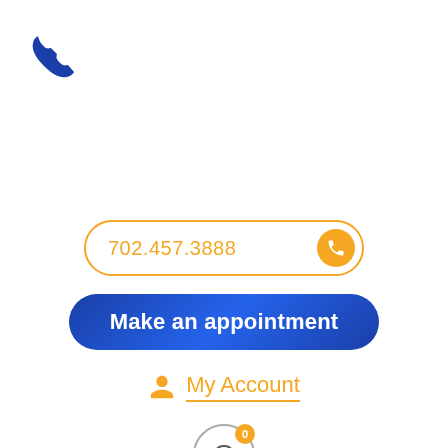[Figure (logo): Blue phone handset icon in top left corner]
702.457.3888
Make an appointment
My Account
[Figure (infographic): Shopping cart icon with orange badge showing 0]